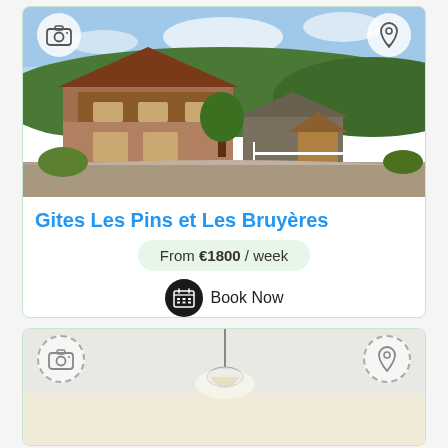[Figure (photo): Exterior photo of a chalet-style house with wooden balcony, surrounded by green trees and hills, with a well/gazebo structure in front and a road/courtyard area]
Gites Les Pins et Les Bruyères
From €1800 / week
Book Now
[Figure (photo): Interior photo showing a ceiling with a hanging light fixture in what appears to be a dining or living room]